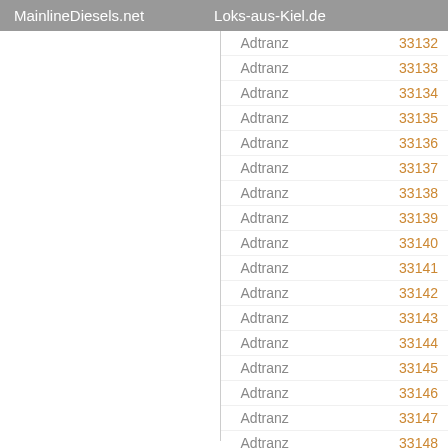MainlineDiesels.net    Loks-aus-Kiel.de
| Maker | Number |
| --- | --- |
| Adtranz | 33132 |
| Adtranz | 33133 |
| Adtranz | 33134 |
| Adtranz | 33135 |
| Adtranz | 33136 |
| Adtranz | 33137 |
| Adtranz | 33138 |
| Adtranz | 33139 |
| Adtranz | 33140 |
| Adtranz | 33141 |
| Adtranz | 33142 |
| Adtranz | 33143 |
| Adtranz | 33144 |
| Adtranz | 33145 |
| Adtranz | 33146 |
| Adtranz | 33147 |
| Adtranz | 33148 |
| Adtranz | 33149 |